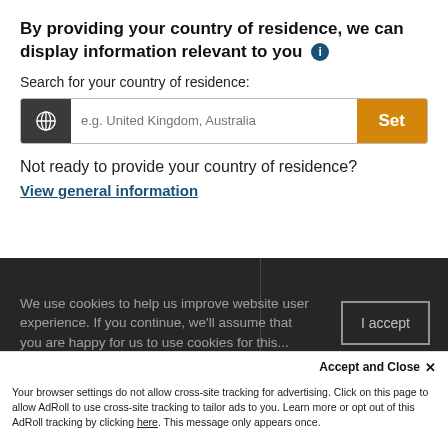By providing your country of residence, we can display information relevant to you ℹ
Search for your country of residence:
[Figure (screenshot): Search input bar with globe icon on dark background, text placeholder 'e.g. United Kingdom, Australia', and orange 'Set' button]
Not ready to provide your country of residence?
View general information
[Figure (screenshot): Dark cookie consent overlay with text 'We use cookies to help us improve website user experience. If you continue, we'll assume that you are happy for us to use cookies for this...' and 'I accept' button]
Accept and Close ✕
Your browser settings do not allow cross-site tracking for advertising. Click on this page to allow AdRoll to use cross-site tracking to tailor ads to you. Learn more or opt out of this AdRoll tracking by clicking here. This message only appears once.